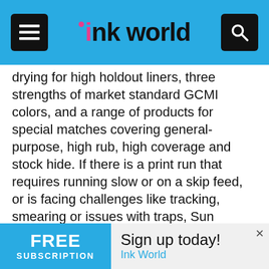ink world
drying for high holdout liners, three strengths of market standard GCMI colors, and a range of products for special matches covering general-purpose, high rub, high coverage and stock hide. If there is a print run that requires running slow or on a skip feed, or is facing challenges like tracking, smearing or issues with traps, Sun Chemical has a solution or service that ultimately will provide greater efficiency and higher quality.
For converters looking for sustainable solutions, Sun Chemical representatives will showcase a platform of eco-friendly and sustainable products that utilize renewable and recyclable materials, have environmentally friendly profiles (low VOCs), and contribute to converter sustainability goals through their impact on lowering waste
[Figure (infographic): FREE SUBSCRIPTION advertisement banner. Left side is cyan/blue with 'FREE SUBSCRIPTION' text in white. Right side shows 'Sign up today! Ink World' with an X close button.]